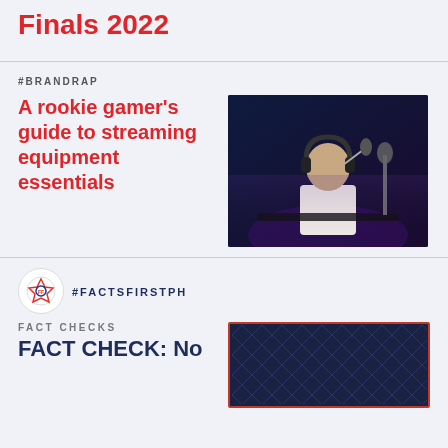Finals 2022
#BRANDRAP
A rookie gamer's guide to streaming equipment essentials
[Figure (photo): Young man with white headphones sitting at a gaming/streaming desk in a dark blue-lit room with microphone]
#FACTSFIRSTPH
FACT CHECKS
FACT CHECK: No
[Figure (photo): Dark navy background image with red border, featuring a diamond/rhombus pattern texture]